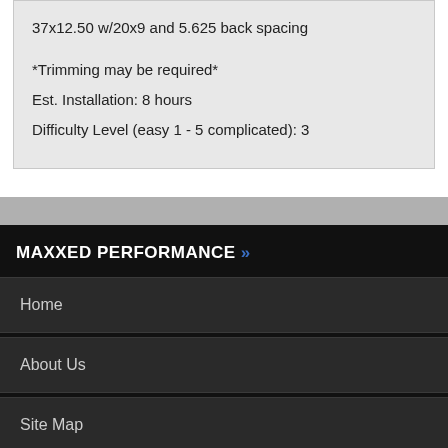37x12.50 w/20x9 and 5.625 back spacing
*Trimming may be required*
Est. Installation: 8 hours
Difficulty Level (easy 1 - 5 complicated): 3
MAXXED PERFORMANCE »
Home
About Us
Site Map
CUSTOMER SERVICE